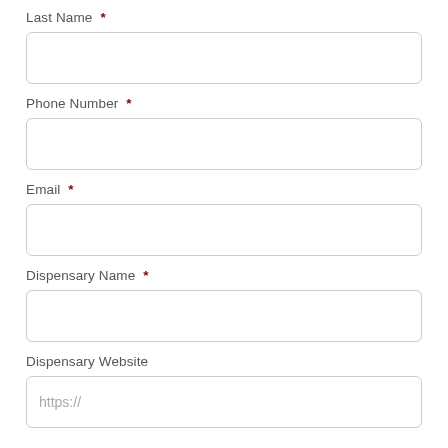Last Name *
Phone Number *
Email *
Dispensary Name *
Dispensary Website